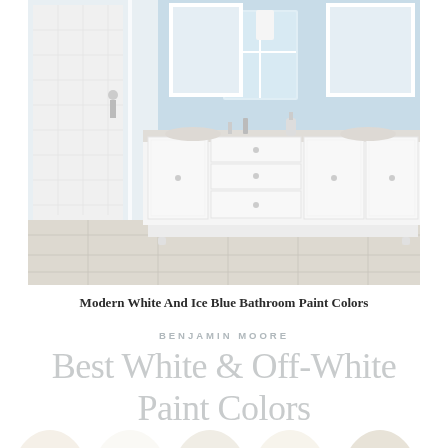[Figure (photo): Modern white and ice blue bathroom with large white double vanity, white tile shower with glass enclosure, marble-look floor tiles, two framed mirrors, and light blue walls]
Modern White And Ice Blue Bathroom Paint Colors
BENJAMIN MOORE
Best White & Off-White Paint Colors
[Figure (illustration): Row of paint color swatches in arch/half-circle shapes showing various white and off-white Benjamin Moore paint colors]